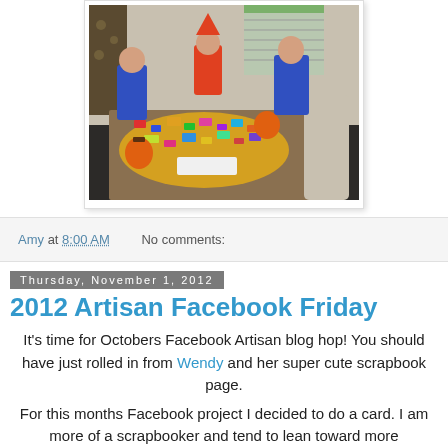[Figure (photo): Children in Halloween costumes sitting around a table covered with Halloween candy]
Amy at 8:00 AM   No comments:
Thursday, November 1, 2012
2012 Artisan Facebook Friday
It's time for Octobers Facebook Artisan blog hop! You should have just rolled in from Wendy and her super cute scrapbook page.
For this months Facebook project I decided to do a card. I am more of a scrapbooker and tend to lean toward more